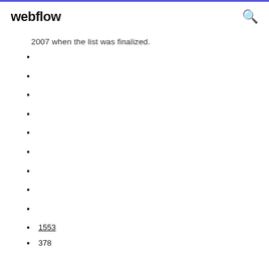webflow
2007 when the list was finalized.
1553
378